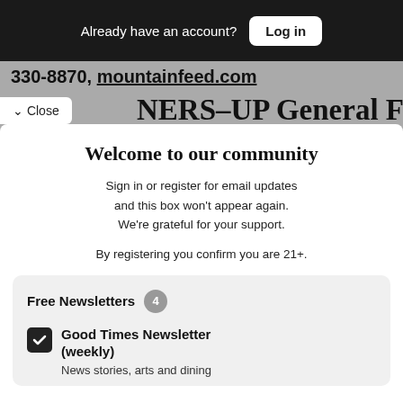Already have an account? Log in
330-8870, mountainfeed.com
NERS-UP General Feed
✓ Close
Welcome to our community
Sign in or register for email updates and this box won't appear again. We're grateful for your support.
By registering you confirm you are 21+.
Free Newsletters 4
Good Times Newsletter (weekly)
News stories, arts and dining